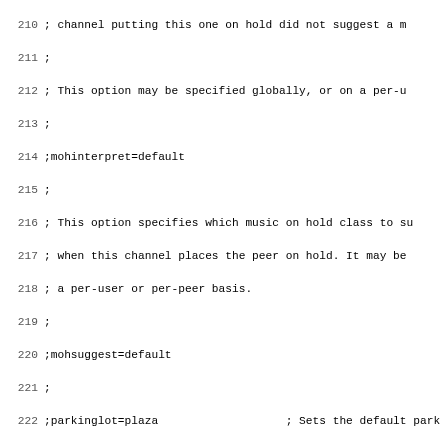Code listing lines 210-242 showing SIP channel configuration options including mohinterpret, mohsuggest, parkinglot, language, relaxdtmf, trustrpid, sendrpid, rpid_update, and progressinband settings with inline comments.